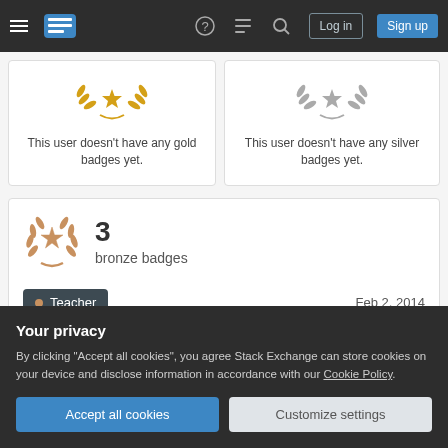Navigation bar with hamburger menu, Stack Exchange logo, help icon, review icon, search icon, Log in button, Sign up button
This user doesn't have any gold badges yet.
This user doesn't have any silver badges yet.
3 bronze badges
Teacher  Feb 2, 2014
Supporter  Feb 2, 2014
Your privacy
By clicking "Accept all cookies", you agree Stack Exchange can store cookies on your device and disclose information in accordance with our Cookie Policy.
Accept all cookies
Customize settings